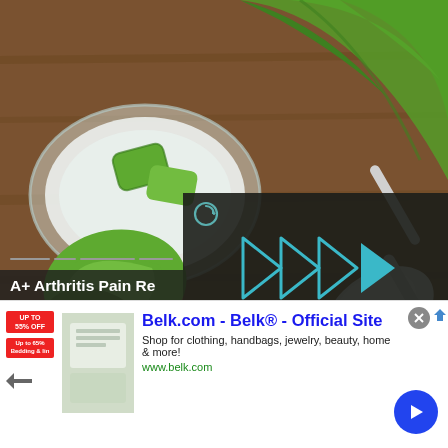[Figure (photo): Aloe vera slices and gel in a glass bowl alongside a wooden spoon with white powder on a wooden surface — arthritis pain remedy ingredients]
[Figure (screenshot): Dark video player overlay with a circular reload icon, forward skip arrows (play icon), and a mute button at the bottom left]
A+ Arthritis Pain Re
Arthritis Treatments
[Figure (screenshot): Advertisement banner for Belk.com with logo, description text, image of home goods, close and AdChoices buttons, and a blue CTA arrow button]